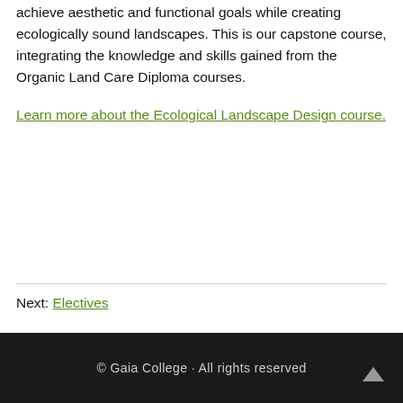achieve aesthetic and functional goals while creating ecologically sound landscapes. This is our capstone course, integrating the knowledge and skills gained from the Organic Land Care Diploma courses.
Learn more about the Ecological Landscape Design course.
Next: Electives
© Gaia College · All rights reserved